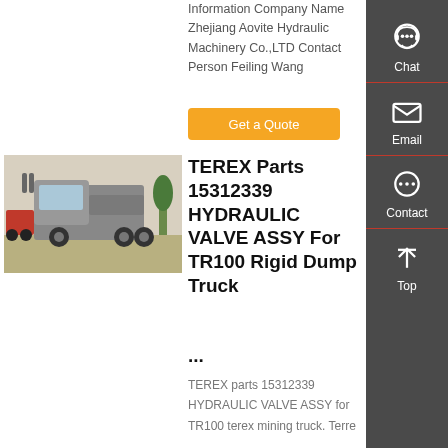Information Company Name Zhejiang Aovite Hydraulic Machinery Co.,LTD Contact Person Feiling Wang
Get a Quote
[Figure (photo): A heavy-duty truck (HOWO/SINOTRUK tractor) photographed outdoors]
TEREX Parts 15312339 HYDRAULIC VALVE ASSY For TR100 Rigid Dump Truck ...
TEREX parts 15312339 HYDRAULIC VALVE ASSY for TR100 terex mining truck. Terre